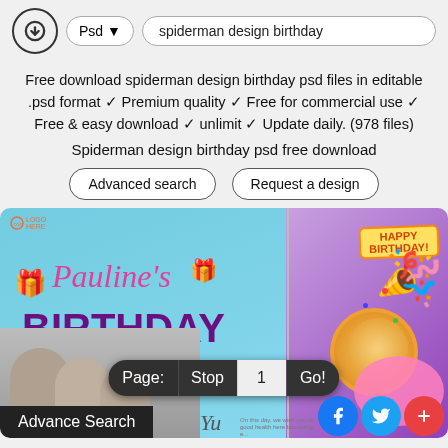Psd ▼  spiderman design birthday
Free download spiderman design birthday psd files in editable .psd format ✓ Premium quality ✓ Free for commercial use ✓ Free & easy download ✓ unlimit ✓ Update daily. (978 files)
Spiderman design birthday psd free download
Advanced search    Request a design
[Figure (screenshot): Birthday design collage showing left panel with 'Pauline's BIRTHDAY JUNE 10' text on blue background with children photo, right panel with birthday cake and party items on purple background, pagination bar showing Page: Stop 1 Go!, Advance Search button, social media icons (Facebook, Twitter, plus)]